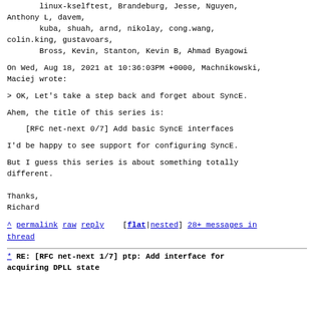linux-kselftest, Brandeburg, Jesse, Nguyen, Anthony L, davem,
        kuba, shuah, arnd, nikolay, cong.wang,
colin.king, gustavoars,
        Bross, Kevin, Stanton, Kevin B, Ahmad Byagowi
On Wed, Aug 18, 2021 at 10:36:03PM +0000, Machnikowski, Maciej wrote:
> OK, Let's take a step back and forget about SyncE.
Ahem, the title of this series is:
[RFC net-next 0/7] Add basic SyncE interfaces
I'd be happy to see support for configuring SyncE.
But I guess this series is about something totally different.
Thanks,
Richard
^ permalink raw reply    [flat|nested] 28+ messages in thread
* RE: [RFC net-next 1/7] ptp: Add interface for acquiring DPLL state